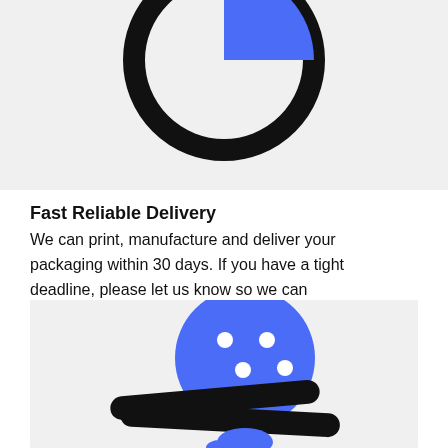[Figure (illustration): Partial view of a clock/pie chart illustration with a black circle outline and a blue slice, cropped at the top of the page on a light gray background.]
Fast Reliable Delivery
We can print, manufacture and deliver your packaging within 30 days. If you have a tight deadline, please let us know so we can accommodate.
[Figure (illustration): Illustration of a blue circle with white dots (resembling a face or cookie) and two black rounded rectangles crossing in front of it, with a small blue figure underneath, on a light gray background.]